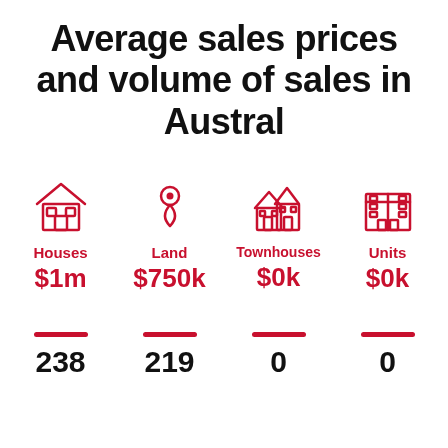Average sales prices and volume of sales in Austral
[Figure (infographic): Four property type icons (Houses, Land, Townhouses, Units) with average sale prices below each: Houses $1m, Land $750k, Townhouses $0k, Units $0k]
[Figure (infographic): Volume of sales row with red bars and numbers: 238, 219, 0, 0]